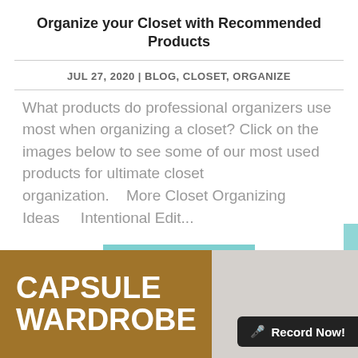Organize your Closet with Recommended Products
JUL 27, 2020 | BLOG, CLOSET, ORGANIZE
What products do professional organizers use most when organizing a closet?  Click on the images below to see some of our most used products for ultimate closet organization.    More Closet Organizing Ideas      Intentional Edit...
READ MORE ▶
[Figure (illustration): Blog post thumbnail showing 'CAPSULE WARDROBE' text on a brown/tan background on the left half, and a light gray area on the right half with a 'Record Now!' button overlay]